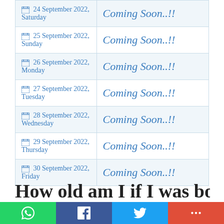| Date | Status |
| --- | --- |
| 24 September 2022, Saturday | Coming Soon..!! |
| 25 September 2022, Sunday | Coming Soon..!! |
| 26 September 2022, Monday | Coming Soon..!! |
| 27 September 2022, Tuesday | Coming Soon..!! |
| 28 September 2022, Wednesday | Coming Soon..!! |
| 29 September 2022, Thursday | Coming Soon..!! |
| 30 September 2022, Friday | Coming Soon..!! |
How old am I if I was born